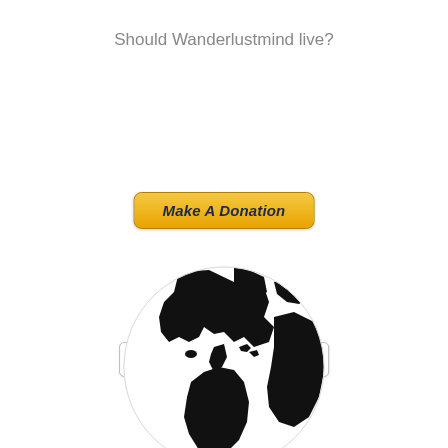Should Wanderlustmind live?
[Figure (other): PayPal-style donation button with orange/yellow gradient reading 'Make A Donation' in bold italic navy text]
[Figure (other): Twitter follow button with bird icon reading 'Follow @Wanderlustmind']
[Figure (illustration): Black and white globe illustration showing the Americas, partially cropped at the bottom of the page]